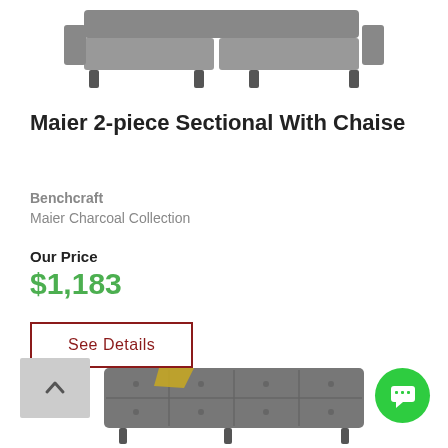[Figure (photo): Partial top view of a gray sectional sofa with chaise, cropped at top of page]
Maier 2-piece Sectional With Chaise
Benchcraft
Maier Charcoal Collection
Our Price
$1,183
See Details
[Figure (photo): Partial view of a gray tufted sectional sofa with a yellow throw blanket, cropped at bottom of page]